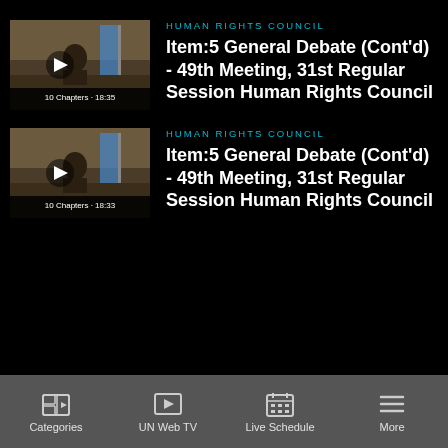[Figure (screenshot): Thumbnail of UN Human Rights Council meeting video, showing play button and caption '10 Chapters · 18:35']
HUMAN RIGHTS COUNCIL
Item:5 General Debate (Cont'd) - 49th Meeting, 31st Regular Session Human Rights Council
[Figure (screenshot): Thumbnail of UN Human Rights Council meeting video, showing play button and caption '10 Chapters · 18:33']
HUMAN RIGHTS COUNCIL
Item:5 General Debate (Cont'd) - 49th Meeting, 31st Regular Session Human Rights Council
Categories   UN Web TV   Live Schedule   More